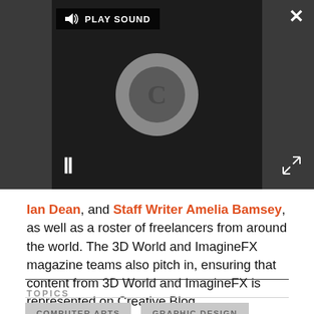[Figure (screenshot): Video player with dark background showing a loading spinner (grey circle with letter C), pause button (||) in lower left, play sound button in upper left, close (X) button in upper right, and fullscreen arrows in lower right.]
Ian Dean, and Staff Writer Amelia Bamsey, as well as a roster of freelancers from around the world. The 3D World and ImagineFX magazine teams also pitch in, ensuring that content from 3D World and ImagineFX is represented on Creative Bloq.
TOPICS
COMPUTER ARTS
GRAPHIC DESIGN